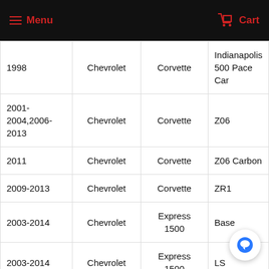Menu   Cart
| Year | Make | Model | Trim |
| --- | --- | --- | --- |
| 1998 | Chevrolet | Corvette | Indianapolis 500 Pace Car |
| 2001-2004,2006-2013 | Chevrolet | Corvette | Z06 |
| 2011 | Chevrolet | Corvette | Z06 Carbon |
| 2009-2013 | Chevrolet | Corvette | ZR1 |
| 2003-2014 | Chevrolet | Express 1500 | Base |
| 2003-2014 | Chevrolet | Express 1500 | LS |